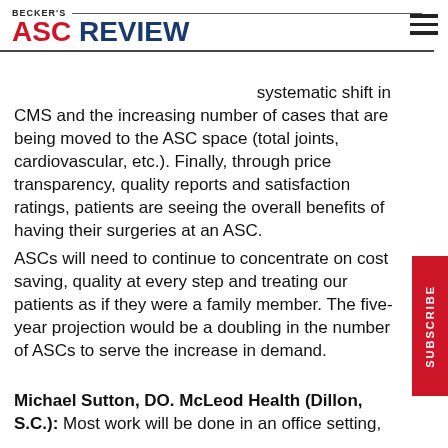BECKER'S ASC REVIEW
systematic shift in CMS and the increasing number of cases that are being moved to the ASC space (total joints, cardiovascular, etc.). Finally, through price transparency, quality reports and satisfaction ratings, patients are seeing the overall benefits of having their surgeries at an ASC.
ASCs will need to continue to concentrate on cost saving, quality at every step and treating our patients as if they were a family member. The five-year projection would be a doubling in the number of ASCs to serve the increase in demand.
Michael Sutton, DO. McLeod Health (Dillon, S.C.): Most work will be done in an office setting,